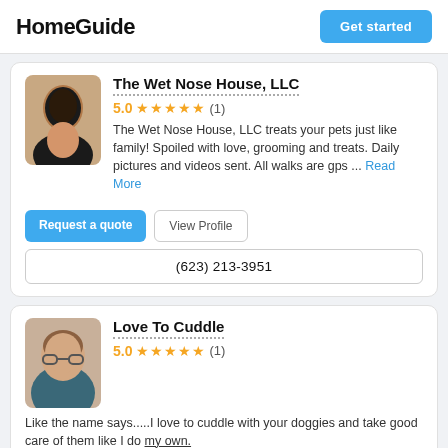HomeGuide
Get started
The Wet Nose House, LLC
5.0 ★★★★★ (1)
The Wet Nose House, LLC treats your pets just like family! Spoiled with love, grooming and treats. Daily pictures and videos sent. All walks are gps ... Read More
Request a quote
View Profile
(623) 213-3951
Love To Cuddle
5.0 ★★★★★ (1)
Like the name says.....I love to cuddle with your doggies and take good care of them like I do my own.